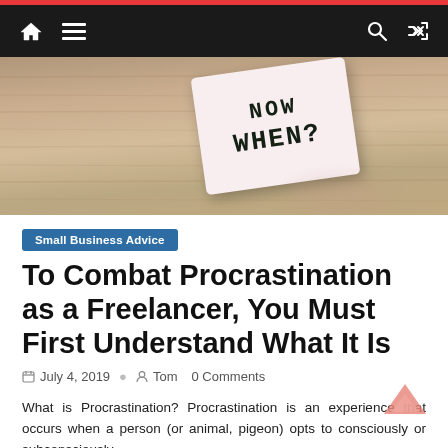Navigation bar with home, menu, search, and shuffle icons
[Figure (photo): A photo of a wooden surface with a white card that has 'WHEN?' written on it in bold handwritten letters]
Small Business Advice
To Combat Procrastination as a Freelancer, You Must First Understand What It Is
July 4, 2019   Tom   0 Comments
What is Procrastination? Procrastination is an experience that occurs when a person (or animal, pigeon) opts to consciously or subconsciously